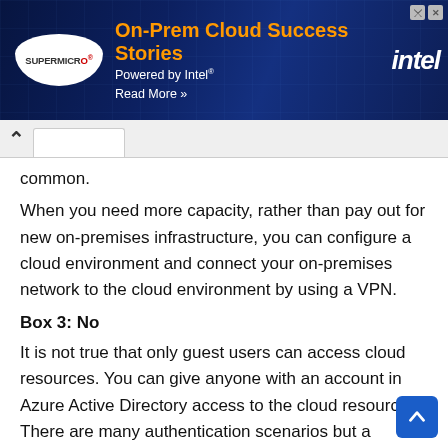[Figure (screenshot): Supermicro and Intel advertisement banner: 'On-Prem Cloud Success Stories, Powered by Intel, Read More >>']
common.
When you need more capacity, rather than pay out for new on-premises infrastructure, you can configure a cloud environment and connect your on-premises network to the cloud environment by using a VPN.
Box 3: No
It is not true that only guest users can access cloud resources. You can give anyone with an account in Azure Active Directory access to the cloud resources. There are many authentication scenarios but a